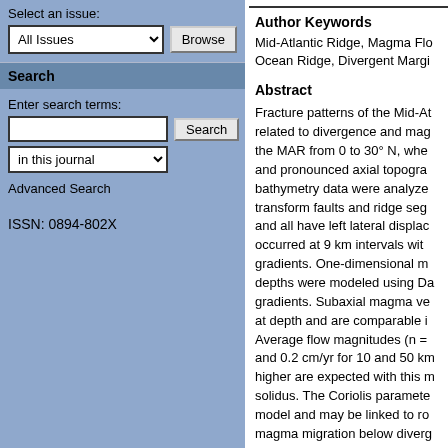Select an issue:
All Issues
Browse
Search
Enter search terms:
in this journal
Advanced Search
ISSN: 0894-802X
Author Keywords
Mid-Atlantic Ridge, Magma Flo Ocean Ridge, Divergent Margi
Abstract
Fracture patterns of the Mid-At related to divergence and mag the MAR from 0 to 30° N, whe and pronounced axial topogra bathymetry data were analyze transform faults and ridge seg and all have left lateral displac occurred at 9 km intervals wit gradients. One-dimensional m depths were modeled using D gradients. Subaxial magma v at depth and are comparable Average flow magnitudes (n = and 0.2 cm/yr for 10 and 50 k higher are expected with this solidus. The Coriolis paramet model and may be linked to r magma migration below diver lithostatic load variations as a